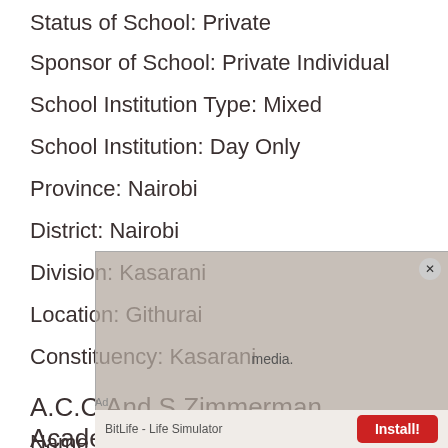Status of School: Private
Sponsor of School: Private Individual
School Institution Type: Mixed
School Institution: Day Only
Province: Nairobi
District: Nairobi
Division: Kasarani
Location: Githurai
Constituency: Kasarani
A.C.C And S Zimmerman Academy
Name of School: A.C.C And S